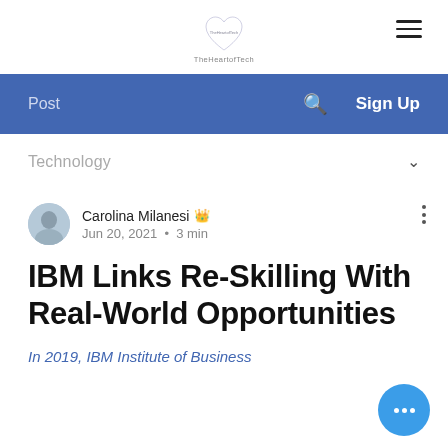TheHeartofTech logo with hamburger menu
[Figure (other): Navigation bar with Post, search icon, and Sign Up]
Technology ∨
Carolina Milanesi 👑 Jun 20, 2021 • 3 min
IBM Links Re-Skilling With Real-World Opportunities
In 2019, IBM Institute of Business